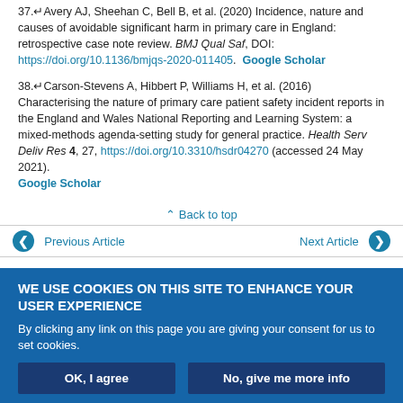37.↵Avery AJ, Sheehan C, Bell B, et al. (2020) Incidence, nature and causes of avoidable significant harm in primary care in England: retrospective case note review. BMJ Qual Saf, DOI: https://doi.org/10.1136/bmjqs-2020-011405. Google Scholar
38.↵Carson-Stevens A, Hibbert P, Williams H, et al. (2016) Characterising the nature of primary care patient safety incident reports in the England and Wales National Reporting and Learning System: a mixed-methods agenda-setting study for general practice. Health Serv Deliv Res 4, 27, https://doi.org/10.3310/hsdr04270 (accessed 24 May 2021). Google Scholar
Back to top
Previous Article | Next Article
WE USE COOKIES ON THIS SITE TO ENHANCE YOUR USER EXPERIENCE
By clicking any link on this page you are giving your consent for us to set cookies.
OK, I agree | No, give me more info